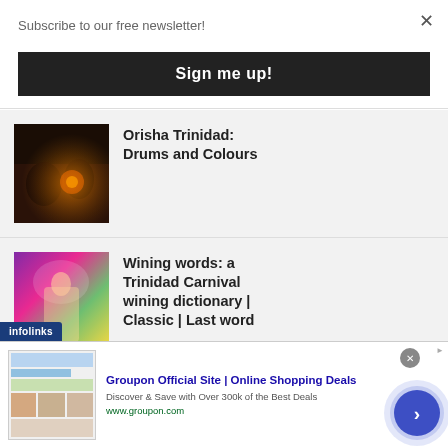Subscribe to our free newsletter!
Sign me up!
×
[Figure (photo): Dark photo of drums and performers at a Trinidad cultural event with fire or orange glow]
Orisha Trinidad: Drums and Colours
[Figure (photo): Colorful photo of a Trinidad Carnival dancer in bright costume with purple, yellow, green colors]
Wining words: a Trinidad Carnival wining dictionary | Classic | Last word
infolinks
[Figure (screenshot): Groupon advertisement banner showing website screenshot thumbnail]
Groupon Official Site | Online Shopping Deals
Discover & Save with Over 300k of the Best Deals
www.groupon.com